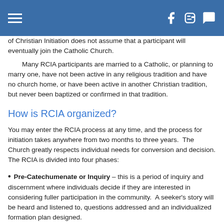Navigation header with hamburger menu and social icons (Facebook, Blogger, chat)
of Christian Initiation does not assume that a participant will eventually join the Catholic Church.
Many RCIA participants are married to a Catholic, or planning to marry one, have not been active in any religious tradition and have no church home, or have been active in another Christian tradition, but never been baptized or confirmed in that tradition.
How is RCIA organized?
You may enter the RCIA process at any time, and the process for initiation takes anywhere from two months to three years. The Church greatly respects individual needs for conversion and decision. The RCIA is divided into four phases:
Pre-Catechumenate or Inquiry – this is a period of inquiry and discernment where individuals decide if they are interested in considering fuller participation in the community. A seeker's story will be heard and listened to, questions addressed and an individualized formation plan designed.
Catechumunate – this is a period of continuing discernment and formation where individuals understand the Catholic faith and practices of the Catholic community.